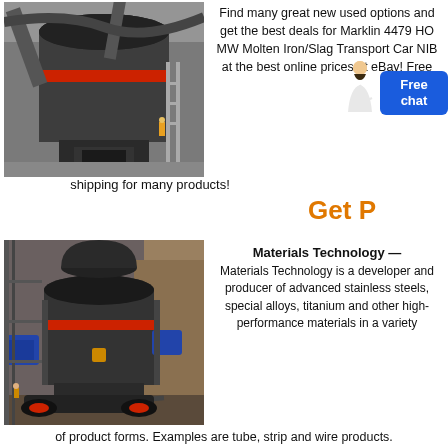[Figure (photo): Industrial grinding mill equipment in a factory setting, large cylindrical dark grey vessel with red band and ductwork overhead]
Find many great new used options and get the best deals for Marklin 4479 HO MW Molten Iron/Slag Transport Car NIB at the best online prices at eBay! Free shipping for many products!
Get P
[Figure (photo): Large industrial vertical grinding mill machine outdoors, dark grey with red accents and blue motor, rocky terrain background]
Materials Technology — Materials Technology is a developer and producer of advanced stainless steels, special alloys, titanium and other high-performance materials in a variety of product forms. Examples are tube, strip and wire products.